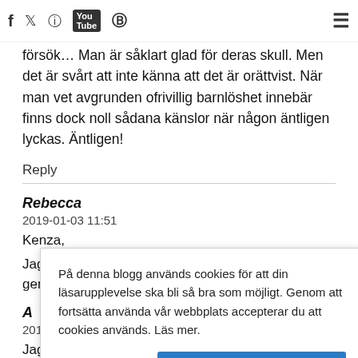f  🐦  📷  Tube  6  ☰
som har väldigt lätt för att bli gravid, dvs alla mina syskon och de flesta vännerna som har barn har blivit det inom 1–7 försök… Man är såklart glad för deras skull. Men det är svårt att inte känna att det är orättvist. När man vet avgrunden ofrivillig barnlöshet innebär finns dock noll sådana känslor när någon äntligen lyckas. Äntligen!
Reply
Rebecca
2019-01-03 11:51
Kenza,
Jag har följt dig sju år nu, och blev så otroligt genuint glad för e
R
A
2019-01-03 11:52
Jag är 12 v gravid och mina hormoner klarade knappt av din youtube video. Grät så mycket för den var så vansinnigt fin och
På denna blogg används cookies för att din läsarupplevelse ska bli så bra som möjligt. Genom att fortsätta använda vår webbplats accepterar du att cookies används. Läs mer.